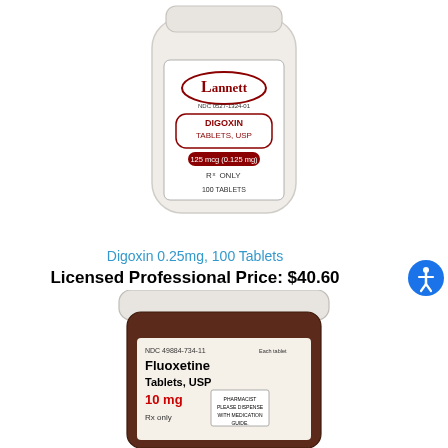[Figure (photo): White plastic pill bottle from Lannett, labeled Digoxin Tablets USP 125 mcg (0.125 mg), NDC 0527-1324-01, Rx Only, 100 Tablets]
Digoxin 0.25mg, 100 Tablets
Licensed Professional Price: $40.60
[Figure (photo): Dark brown plastic pill bottle with white cap, labeled Fluoxetine Tablets USP 10 mg, NDC 49884-734-11, Rx only, with pharmacist dispensing note]